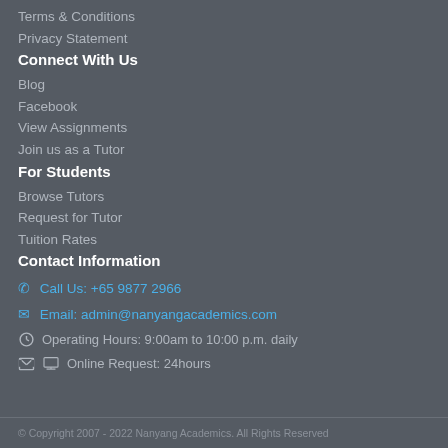Terms & Conditions
Privacy Statement
Connect With Us
Blog
Facebook
View Assignments
Join us as a Tutor
For Students
Browse Tutors
Request for Tutor
Tuition Rates
Contact Information
Call Us: +65 9877 2966
Email: admin@nanyangacademics.com
Operating Hours: 9:00am to 10:00 p.m. daily
Online Request: 24hours
© Copyright 2007 - 2022 Nanyang Academics. All Rights Reserved